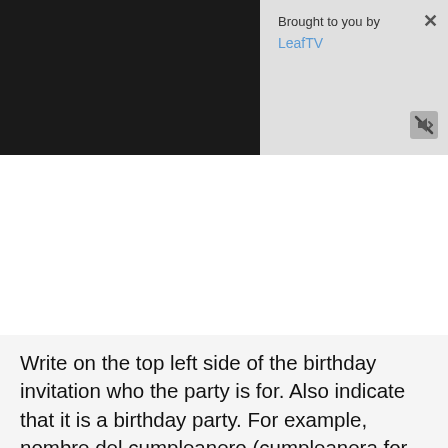[Figure (screenshot): Dark video player area on the left, with a 'Brought to you by LeafTV' overlay panel on the right with close and mute buttons]
Write on the top left side of the birthday invitation who the party is for. Also indicate that it is a birthday party. For example, nombre del cumpleanero (cumpleanera for female) means